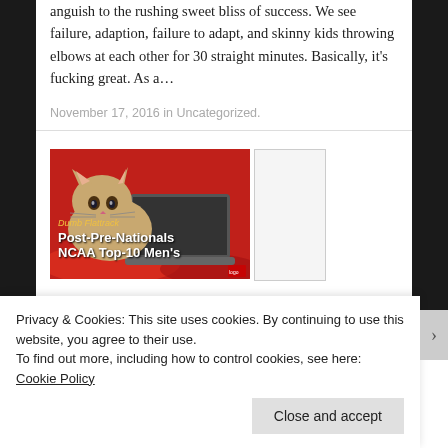anguish to the rushing sweet bliss of success. We see failure, adaption, failure to adapt, and skinny kids throwing elbows at each other for 30 straight minutes. Basically, it's fucking great. As a…
November 17, 2016 in Uncategorized.
[Figure (photo): Photo of a cat near a laptop on a red background with text overlay reading 'Dumb Flattrack Post-Pre-Nationals NCAA Top-10 Men's']
Privacy & Cookies: This site uses cookies. By continuing to use this website, you agree to their use.
To find out more, including how to control cookies, see here: Cookie Policy
Close and accept